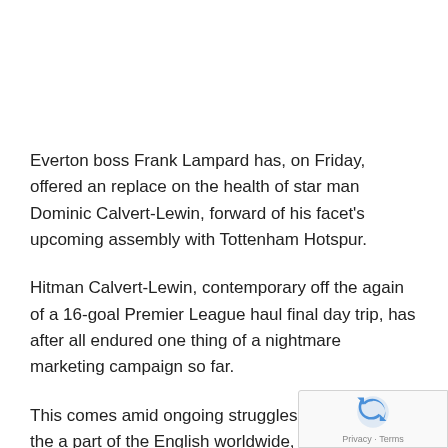Everton boss Frank Lampard has, on Friday, offered an replace on the health of star man Dominic Calvert-Lewin, forward of his facet's upcoming assembly with Tottenham Hotspur.
Hitman Calvert-Lewin, contemporary off the again of a 16-goal Premier League haul final day trip, has after all endured one thing of a nightmare marketing campaign so far.
This comes amid ongoing struggles for health on the a part of the English worldwide, culminating in begins in sim eight of Everton's 24 league fixtures.